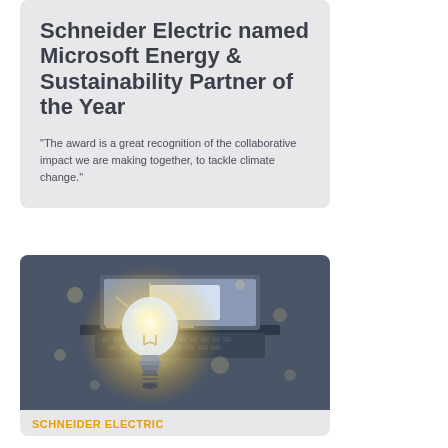Schneider Electric named Microsoft Energy & Sustainability Partner of the Year
"The award is a great recognition of the collaborative impact we are making together, to tackle climate change."
[Figure (photo): A glowing light bulb placed in front of a laptop keyboard on a dark surface, with bokeh light effects in the background]
SCHNEIDER ELECTRIC